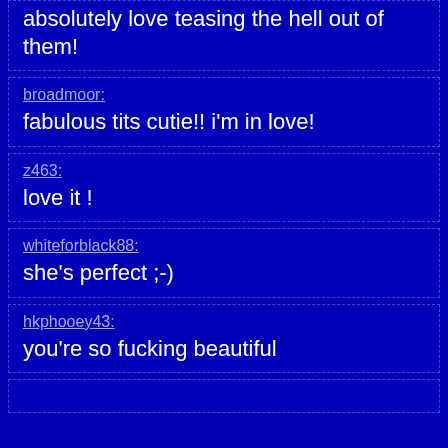absolutely love teasing the hell out of them!
broadmoor:
fabulous tits cutie!! i'm in love!
z463:
love it !
whiteforblack88:
she's perfect ;-)
hkphooey43:
you're so fucking beautiful